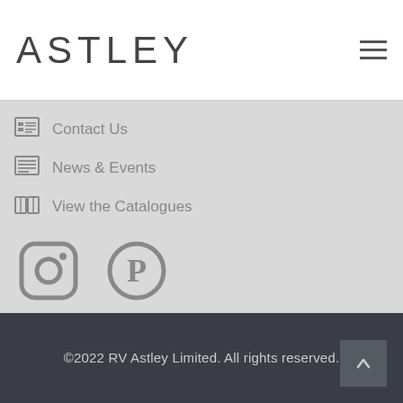ASTLEY
Contact Us
News & Events
View the Catalogues
[Figure (illustration): Instagram and Pinterest social media icons]
©2022 RV Astley Limited.  All rights reserved.